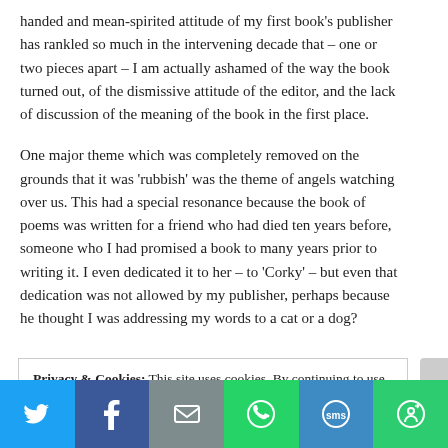handed and mean-spirited attitude of my first book's publisher has rankled so much in the intervening decade that – one or two pieces apart – I am actually ashamed of the way the book turned out, of the dismissive attitude of the editor, and the lack of discussion of the meaning of the book in the first place.
One major theme which was completely removed on the grounds that it was 'rubbish' was the theme of angels watching over us. This had a special resonance because the book of poems was written for a friend who had died ten years before, someone who I had promised a book to many years prior to writing it. I even dedicated it to her – to 'Corky' – but even that dedication was not allowed by my publisher, perhaps because he thought I was addressing my words to a cat or a dog?
Privacy & Cookies: This site uses cookies. By continuing to use this website, you agree to their use.
To find out more, including how to control cookies, see here: Cookie Policy
[Figure (infographic): Social sharing bar with icons for Twitter, Facebook, Email, WhatsApp, SMS, and More]